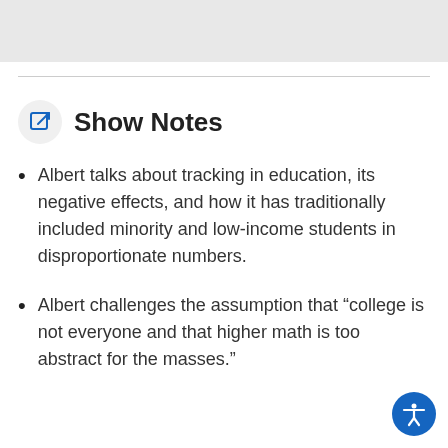[Figure (other): Gray bar at top of page, partial content from previous section]
Show Notes
Albert talks about tracking in education, its negative effects, and how it has traditionally included minority and low-income students in disproportionate numbers.
Albert challenges the assumption that “college is not everyone and that higher math is too abstract for the masses.”